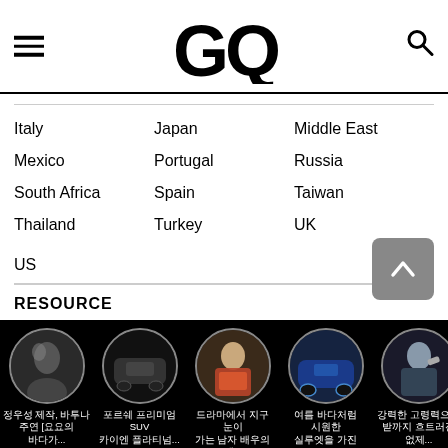GQ
Italy  Japan  Middle East
Mexico  Portugal  Russia
South Africa  Spain  Taiwan
Thailand  Turkey  UK
US
RESOURCE
Subscribe  회사소개  광고/제휴 문의  개인정보 처리방침
SOCIAL
Instagram  Facebook  Twitter  Youtube  Kakaostory
GQ KOREA
정우성 제작, 바투나 주연 [요요의 바다가...
포르쉐 프리미엄 SUV 카이엔 플라티넘...
드라마에서 지구 눈이 가는 남자 배우의 패...
여름 바다처럼 시원한 실루엣을 가진 스포...
강력한 고령력으로 받까지 흐트러진 없제...